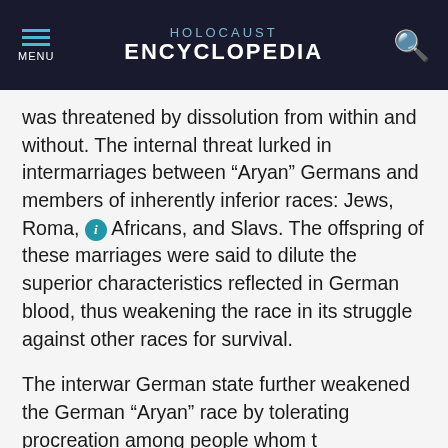HOLOCAUST ENCYCLOPEDIA
was threatened by dissolution from within and without. The internal threat lurked in intermarriages between “Aryan” Germans and members of inherently inferior races: Jews, Roma, ⓘ Africans, and Slavs. The offspring of these marriages were said to dilute the superior characteristics reflected in German blood, thus weakening the race in its struggle against other races for survival.
The interwar German state further weakened the German “Aryan” race by tolerating procreation among people whom the Nazis considered genetically degenerate